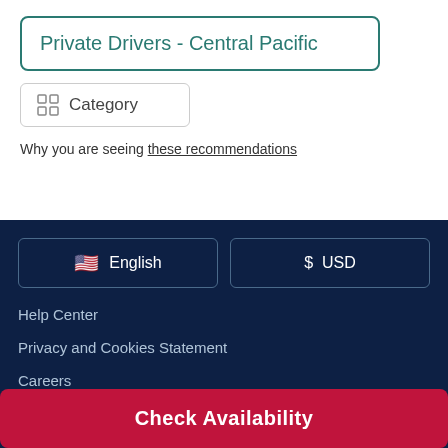Private Drivers - Central Pacific
Category
Why you are seeing these recommendations
English
$ USD
Help Center
Privacy and Cookies Statement
Careers
Customer Care
Check Availability